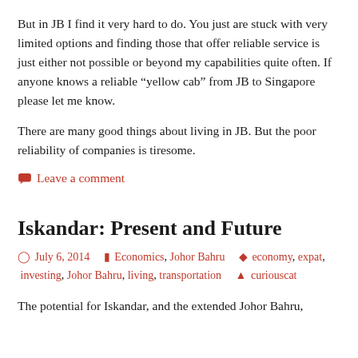But in JB I find it very hard to do. You just are stuck with very limited options and finding those that offer reliable service is just either not possible or beyond my capabilities quite often. If anyone knows a reliable “yellow cab” from JB to Singapore please let me know.
There are many good things about living in JB. But the poor reliability of companies is tiresome.
Leave a comment
Iskandar: Present and Future
July 6, 2014   Economics, Johor Bahru   economy, expat, investing, Johor Bahru, living, transportation   curiouscat
The potential for Iskandar, and the extended Johor Bahru,